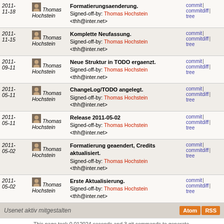| Date | Author | Message | Links |
| --- | --- | --- | --- |
| 2011-11-18 | Thomas Hochstein | Formatierungsaenderung.
Signed-off-by: Thomas Hochstein <thh@inter.net> | commit | commitdiff | tree |
| 2011-11-15 | Thomas Hochstein | Komplette Neufassung.
Signed-off-by: Thomas Hochstein <thh@inter.net> | commit | commitdiff | tree |
| 2011-09-11 | Thomas Hochstein | Neue Struktur in TODO ergaenzt.
Signed-off-by: Thomas Hochstein <thh@inter.net> | commit | commitdiff | tree |
| 2011-05-11 | Thomas Hochstein | ChangeLog/TODO angelegt.
Signed-off-by: Thomas Hochstein <thh@inter.net> | commit | commitdiff | tree |
| 2011-05-11 | Thomas Hochstein | Release 2011-05-02
Signed-off-by: Thomas Hochstein <thh@inter.net> | commit | commitdiff | tree |
| 2011-05-02 | Thomas Hochstein | Formatierung geaendert, Credits aktualisiert.
Signed-off-by: Thomas Hochstein <thh@inter.net> | commit | commitdiff | tree |
| 2011-05-02 | Thomas Hochstein | Erste Aktualisierung.
Signed-off-by: Thomas Hochstein <thh@inter.net> | commit | commitdiff | tree |
Usenet aktiv mitgestalten
This page took 0.012024 seconds and 3 git commands to generate.